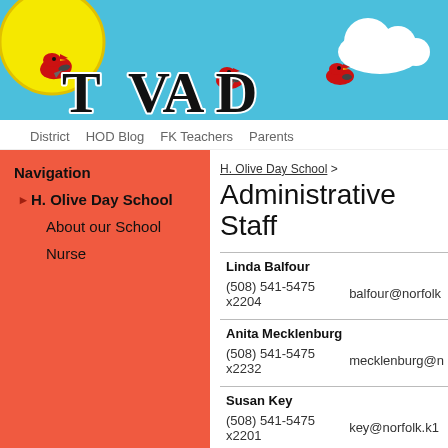[Figure (illustration): School banner with blue sky background, yellow sun, red cardinal birds, and large stylized school name letters in black and white]
District   HOD Blog   FK Teachers   Parents
Navigation
H. Olive Day School
About our School
Nurse
H. Olive Day School >
Administrative Staff
| Linda Balfour |  |
| (508) 541-5475 x2204 | balfour@norfolk... |
| Anita Mecklenburg |  |
| (508) 541-5475 x2232 | mecklenburg@n... |
| Susan Key |  |
| (508) 541-5475 x2201 | key@norfolk.k1... |